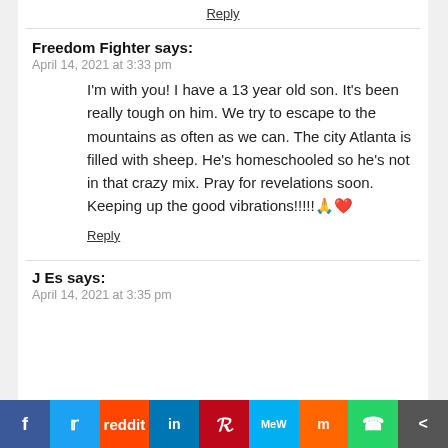Reply
Freedom Fighter says:
April 14, 2021 at 3:33 pm
I'm with you! I have a 13 year old son. It's been really tough on him. We try to escape to the mountains as often as we can. The city Atlanta is filled with sheep. He's homeschooled so he's not in that crazy mix. Pray for revelations soon. Keeping up the good vibrations!!!!!🙏❤️
Reply
J Es says:
April 14, 2021 at 3:35 pm
[Figure (other): Social media sharing bar with icons: Facebook, Twitter, Reddit, LinkedIn, Pinterest, MeWe, Mix, WhatsApp, Share]